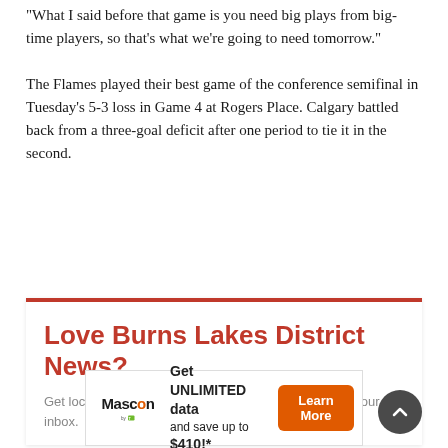“What I said before that game is you need big plays from big-time players, so that’s what we’re going to need tomorrow.”
The Flames played their best game of the conference semifinal in Tuesday’s 5-3 loss in Game 4 at Rogers Place. Calgary battled back from a three-goal deficit after one period to tie it in the second.
[Figure (infographic): Promotional subscription box with red top border reading 'Love Burns Lakes District News?' and subtitle 'Get local stories you won’t find anywhere else right to your inbox.']
[Figure (infographic): Mascon by TELUS advertisement banner: 'Get UNLIMITED data and save up to $410!*' with orange 'Learn More' button]